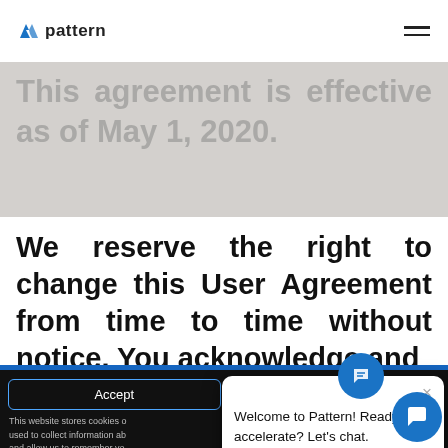pattern
This agreement is effective as of May 1, 2020.
We reserve the right to change this User Agreement from time to time without notice. You acknowledge and
Accept
Decline
This website stores cookies o... used to collect information ab... and allow us to remember yo... improve and customize your ... and metrics about our visitor... To find out more about the cookies we use, see our Privacy Policy.
Welcome to Pattern! Ready to accelerate? Let's chat.
If you decline, your information won't be tracked when you visit this website. A single cookie will be used in your browser to remember your preference not to be tracked.